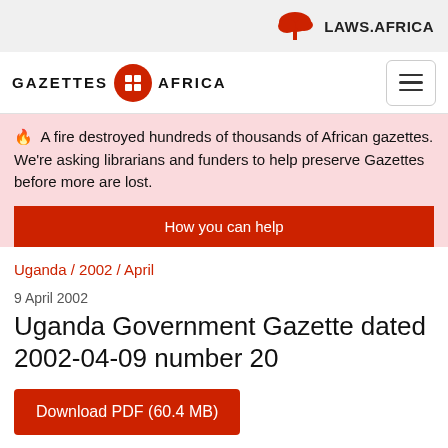LAWS.AFRICA
[Figure (logo): Gazettes Africa logo with red circular icon and hamburger menu button]
🔥 A fire destroyed hundreds of thousands of African gazettes. We're asking librarians and funders to help preserve Gazettes before more are lost.
How you can help
Uganda / 2002 / April
9 April 2002
Uganda Government Gazette dated 2002-04-09 number 20
Download PDF (60.4 MB)